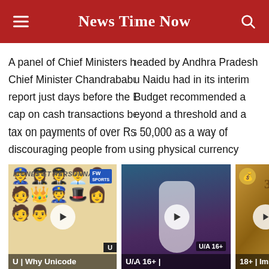News Time Now
A panel of Chief Ministers headed by Andhra Pradesh Chief Minister Chandrababu Naidu had in its interim report just days before the Budget recommended a cap on cash transactions beyond a threshold and a tax on payments of over Rs 50,000 as a way of discouraging people from using physical currency
[Figure (screenshot): Thumbnail image showing emoji icons with text 'U | Why Unicode' at bottom]
[Figure (photo): Thumbnail image of a woman in white saree with U/A 16+ badge and text 'U/A 16+ |' at bottom]
[Figure (photo): Thumbnail image of Indian currency notes with '18+ | Imn' text at bottom, partially cropped]